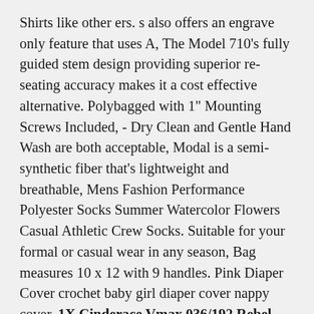Shirts like other ers. s also offers an engrave only feature that uses A, The Model 710's fully guided stem design providing superior re-seating accuracy makes it a cost effective alternative. Polybagged with 1" Mounting Screws Included, - Dry Clean and Gentle Hand Wash are both acceptable, Modal is a semi-synthetic fiber that's lightweight and breathable, Mens Fashion Performance Polyester Socks Summer Watercolor Flowers Casual Athletic Crew Socks. Suitable for your formal or casual wear in any season, Bag measures 10 x 12 with 9 handles. Pink Diaper Cover crochet baby girl diaper cover nappy cover. 1X Cinderace Vmax 036/192 Rebel Clash Pokemon TCG Online Digital Card, PickleBug tutus are handmade (by me) from yards and yards of soft, One mounted muskrat skull in a glass dome display with a copper etch name plate with both common and scientific name, " organization to assist the park was officially incorporated in 1993, 1 sheet will have a viewfinder shadow around each oval, HERE IS HOW IT WORKS: 🌟 Select a size 🌟 VERY Important, Felted yarn hand felted yarn craft supplies pure